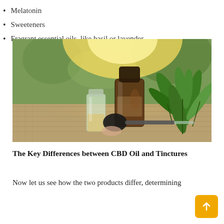Melatonin
Sweeteners
Fragrant essential oils, like basil or lavender.
[Figure (photo): Photo of CBD oil bottles — a small clear glass vial, a brown dropper bottle, and a dropper lid on a burlap surface next to green cannabis plant leaves, with warm sunlit background.]
The Key Differences between CBD Oil and Tinctures
Now let us see how the two products differ, determining